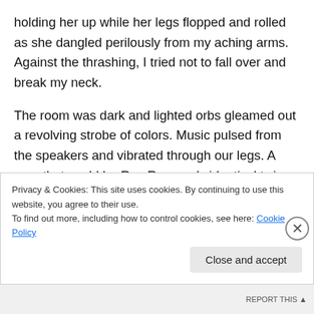holding her up while her legs flopped and rolled as she dangled perilously from my aching arms.  Against the thrashing, I tried not to fall over and break my neck.
The room was dark and lighted orbs gleamed out a revolving strobe of colors. Music pulsed from the speakers and vibrated through our legs. A man that could be Ray Romano’s identical twin was completely decked out from head-to-toe in safety gear. The man’s wife, also shielded in protective coverings, skated beside him. They rolled along the rink, methodically twisting their legs and skates
Privacy & Cookies: This site uses cookies. By continuing to use this website, you agree to their use.
To find out more, including how to control cookies, see here: Cookie Policy
Close and accept